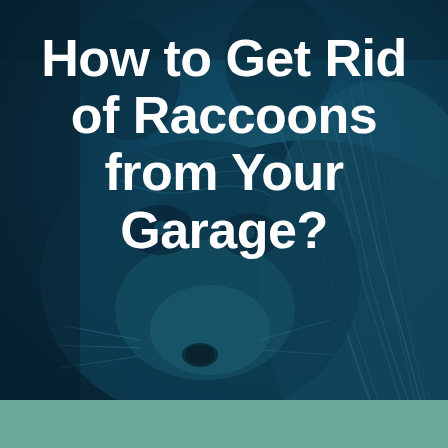[Figure (photo): Close-up photo of a raccoon with dark teal/blue color overlay, showing the animal's fur, snout and facial features against a dark navy blue background.]
How to Get Rid of Raccoons from Your Garage?